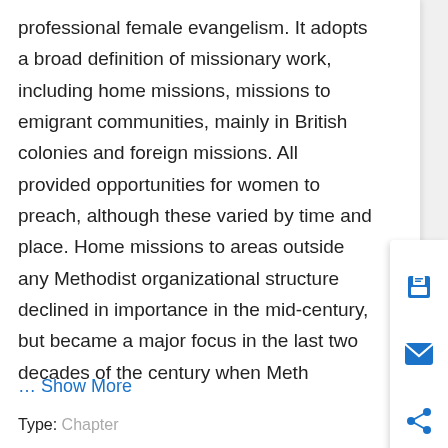professional female evangelism. It adopts a broad definition of missionary work, including home missions, missions to emigrant communities, mainly in British colonies and foreign missions. All provided opportunities for women to preach, although these varied by time and place. Home missions to areas outside any Methodist organizational structure declined in importance in the mid-century, but became a major focus in the last two decades of the century when Meth
… Show More
Type: Chapter